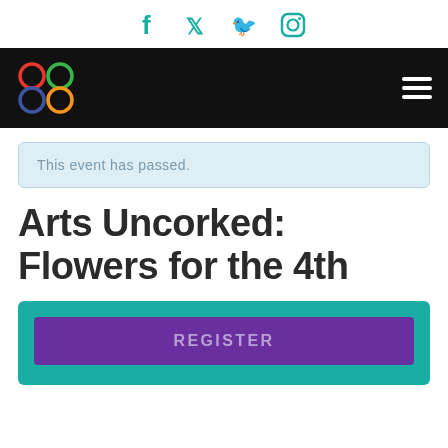Social media icons: Facebook, Twitter, Instagram
[Figure (logo): GCOA colorful interlocking circles logo on black navigation bar with hamburger menu icon]
This event has passed.
Arts Uncorked: Flowers for the 4th
REGISTER